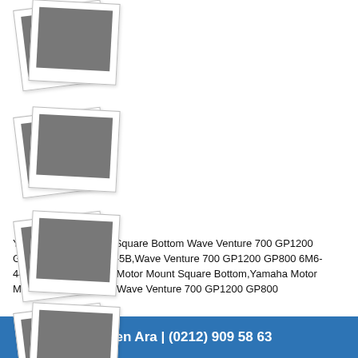[Figure (photo): Four sets of stacked polaroid-style photo placeholders arranged vertically on the left side of the page, each showing a gray image area on a white polaroid card background.]
Yamaha Motor Mount Square Bottom Wave Venture 700 GP1200 GP800 6M6-44517-00-5B,Wave Venture 700 GP1200 GP800 6M6-44517-00-5B Yamaha Motor Mount Square Bottom,Yamaha Motor Mount Square Bottom Wave Venture 700 GP1200 GP800
Hemen Ara | (0212) 909 58 63